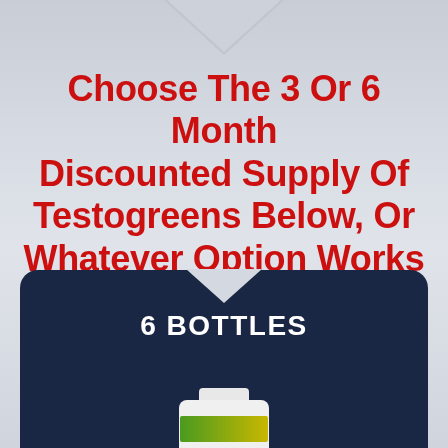Choose The 3 Or 6 Month Discounted Supply Of Testogreens Below, Or Whatever Option Works Best For You
[Figure (infographic): Dark navy blue rounded card with downward-pointing notch at top, labeled '6 BOTTLES' in large bold white text, with partial product bottle image visible at the bottom of the card.]